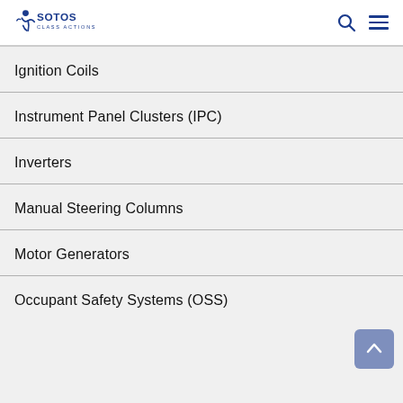SOTOS CLASS ACTIONS
Ignition Coils
Instrument Panel Clusters (IPC)
Inverters
Manual Steering Columns
Motor Generators
Occupant Safety Systems (OSS)